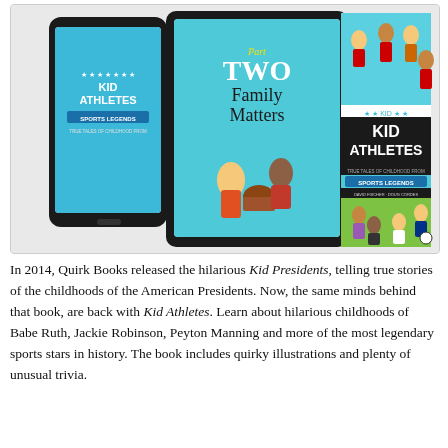[Figure (illustration): Composite image showing a smartphone and e-reader tablet displaying book covers including 'Part Two: Family Matters' and 'Kid Athletes: True Tales of Childhood from Sports Legends', alongside the physical book cover of 'Kid Athletes: True Tales of Childhood from Sports Legends' by David Fischer, illustrated by Doug Cordes, featuring cartoon illustrations of young athletes including Gabby Douglas, Lionel Messi, Tyler Wadis, and Danica Patrick.]
In 2014, Quirk Books released the hilarious Kid Presidents, telling true stories of the childhoods of the American Presidents. Now, the same minds behind that book, are back with Kid Athletes. Learn about hilarious childhoods of Babe Ruth, Jackie Robinson, Peyton Manning and more of the most legendary sports stars in history. The book includes quirky illustrations and plenty of unusual trivia.